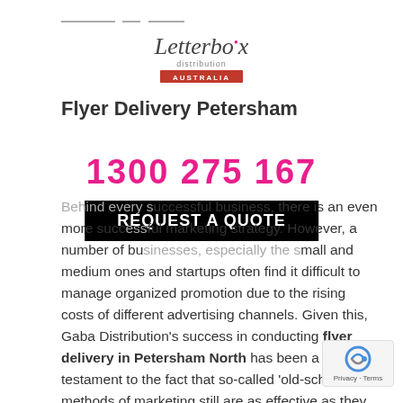[Figure (logo): Letterbox Distribution Australia logo — cursive 'Letterbox' text above 'distribution' and 'AUSTRALIA' banner]
Flyer Delivery Petersham
1300 275 167
REQUEST A QUOTE
Behind every successful business, there is an even more successful marketing strategy. However, a number of businesses, especially the small and medium ones and startups often find it difficult to manage organized promotion due to the rising costs of different advertising channels. Given this, Gaba Distribution's success in conducting flyer delivery in Petersham North has been a testament to the fact that so-called 'old-school' methods of marketing still are as effective as they once were. Their success however, does depend on a lot of factors. People are nowadays accustomed to receiving junk marketing mail on their email IDs. An attractive flyer in their mailbox can be seen by them as a pleasant change.